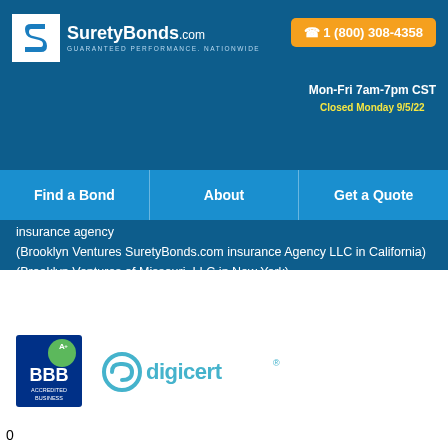[Figure (logo): SuretyBonds.com logo with S-shaped icon and tagline GUARANTEED PERFORMANCE. NATIONWIDE]
1 (800) 308-4358
Mon-Fri 7am-7pm CST
Closed Monday 9/5/22
Find a Bond | About | Get a Quote
insurance agency
(Brooklyn Ventures SuretyBonds.com insurance Agency LLC in California)
(Brooklyn Ventures of Missouri, LLC in New York)
[Figure (logo): BBB A+ Accredited Business badge]
[Figure (logo): DigiCert logo]
0